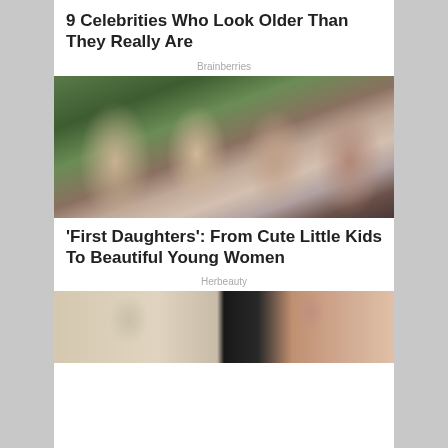9 Celebrities Who Look Older Than They Really Are
Brainberries
[Figure (photo): Group photo of four people smiling outdoors with green foliage in background]
'First Daughters': From Cute Little Kids To Beautiful Young Women
Herbeauty
[Figure (photo): Split image: left side shows a living room scene, right side shows a bald muscular man bending over]